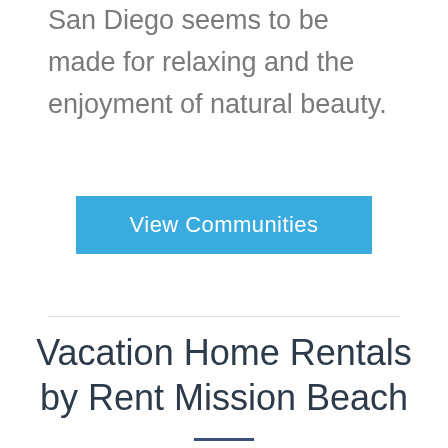San Diego seems to be made for relaxing and the enjoyment of natural beauty.
View Communities
Vacation Home Rentals by Rent Mission Beach
Our vacation rentals are located